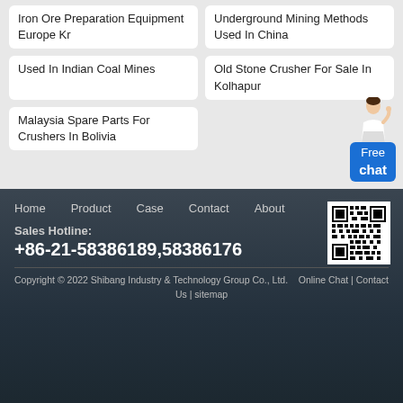Iron Ore Preparation Equipment Europe Kr
Underground Mining Methods Used In China
Used In Indian Coal Mines
Old Stone Crusher For Sale In Kolhapur
Malaysia Spare Parts For Crushers In Bolivia
[Figure (other): Free chat widget with female customer service representative illustration and blue button]
Home   Product   Case   Contact   About
[Figure (other): QR code for mobile access]
Sales Hotline:
+86-21-58386189,58386176
Copyright © 2022 Shibang Industry & Technology Group Co., Ltd.   Online Chat | Contact Us | sitemap